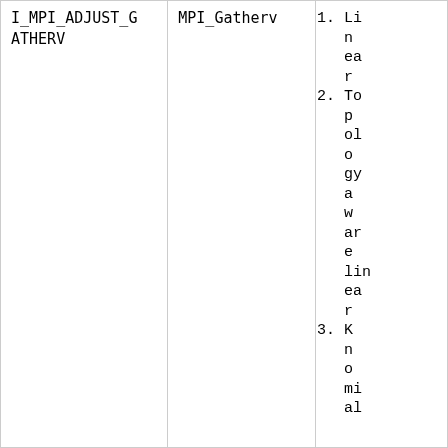| I_MPI_ADJUST_GATHERV | MPI_Gatherv | 1. Linear
2. Topology aware linear
3. Knomial |